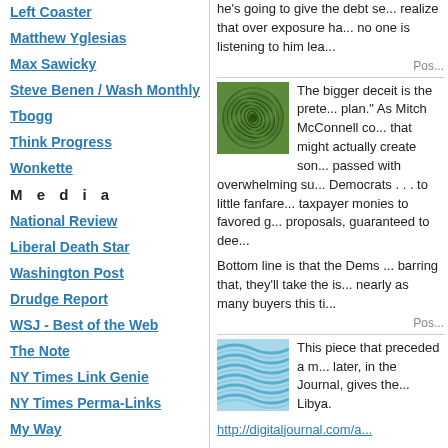Left Coaster
Matthew Yglesias
Max Sawicky
Steve Benen / Wash Monthly
Tbogg
Think Progress
Wonkette
M e d i a
National Review
Liberal Death Star
Washington Post
Drudge Report
WSJ - Best of the Web
The Note
NY Times Link Genie
NY Times Perma-Links
My Way
he's going to give the debt se... realize that over exposure ha... no one is listening to him lea...
Pos...
[Figure (illustration): Green spiral/swirl pattern thumbnail image]
The bigger deceit is the prete... plan." As Mitch McConnell co... that might actually create son... passed with overwhelming su... Democrats . . . to little fanfare... taxpayer monies to favored g... proposals, guaranteed to dee...
Bottom line is that the Dems ... barring that, they'll take the is... nearly as many buyers this ti...
Pos...
[Figure (illustration): Blue wavy water pattern thumbnail image]
This piece that preceded a m... later, in the Journal, gives the... Libya.
http://digitaljournal.com/a...